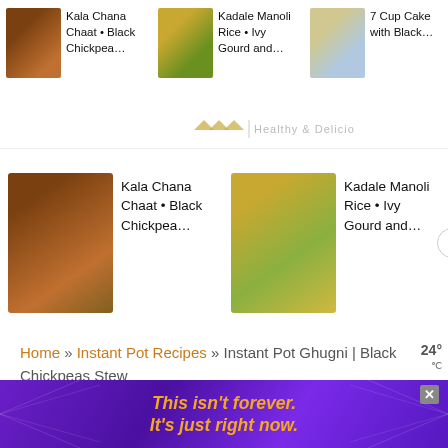[Figure (screenshot): Top scrollable recipe bar with thumbnail images and titles: Kala Chana Chaat • Black Chickpea..., Kadale Manoli Rice • Ivy Gourd and..., 7 Cup Cake with Black...]
[Figure (logo): Recipe website logo bar with decorative text and leaf icon]
[Figure (screenshot): Recipe cards row: Kala Chana Chaat • Black Chickpea..., Kadale Manoli Rice • Ivy Gourd and..., 7 C... > 7 C... wit]
Home » Instant Pot Recipes » Instant Pot Ghugni | Black Chickpeas Stew
Instant Pot Ghugni | Black Chickpeas Stew
Posted on September 19, 2017 · Last Updated
[Figure (infographic): Advertisement banner with purple background and yellow text: This isn't forever. It's just right now.]